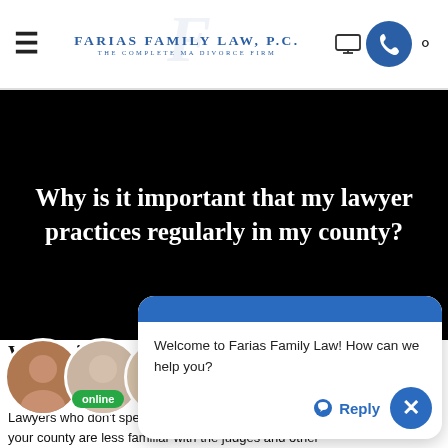FARIAS FAMILY LAW, P.C. — The Complete MA Divorce Firm
Why is it important that my lawyer practices regularly in my county?
[Figure (screenshot): Chat widget overlay from Farias Family Law website showing 'Welcome to Farias Family Law! How can we help you?' message with Reply button and close button]
Why is it important that my lawyer practices regularly in my county?
Lawyers who don't spend a significant amount of time handling cases in your county are less familiar with the judges and other